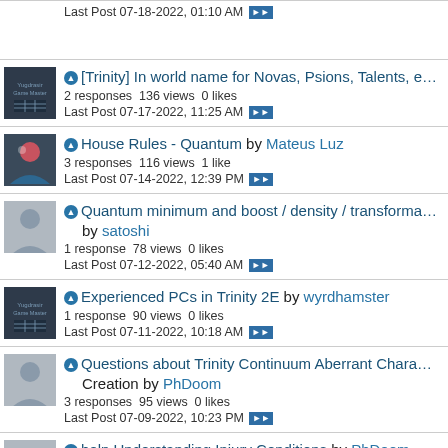Last Post 07-18-2022, 01:10 AM
[Trinity] In world name for Novas, Psions, Talents, etc? by wyrdhamster
2 responses 136 views 0 likes
Last Post 07-17-2022, 11:25 AM
House Rules - Quantum by Mateus Luz
3 responses 116 views 1 like
Last Post 07-14-2022, 12:39 PM
Quantum minimum and boost / density / transformation by satoshi
1 response 78 views 0 likes
Last Post 07-12-2022, 05:40 AM
Experienced PCs in Trinity 2E by wyrdhamster
1 response 90 views 0 likes
Last Post 07-11-2022, 10:18 AM
Questions about Trinity Continuum Aberrant Character Creation by PhDoom
3 responses 95 views 0 likes
Last Post 07-09-2022, 10:23 PM
help Understanding Injury Conditions by PhDoom
2 responses 100 views 0 likes
Last Post 07-08-2022, 06:16 PM
New Trinity Continuum Podcast! by PneumaPilot
5 responses 258 views 3 likes